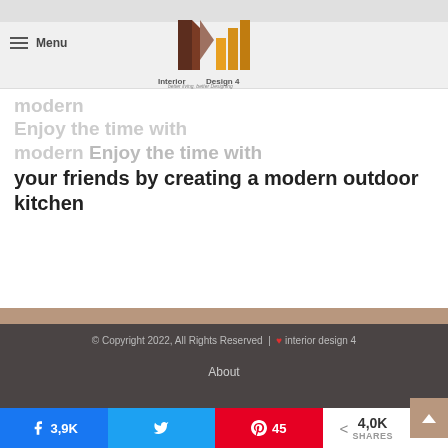Menu
[Figure (logo): Interior Design 4 logo with geometric shapes in brown, dark red and gold/orange colors. Tagline: better living, better Designing]
modern Enjoy the time with your friends by creating a modern outdoor kitchen
© Copyright 2022, All Rights Reserved | ❤ interior design 4
About
Archives
Contact Us
design1
3,9K  [Twitter share]  45  <  4,0K SHARES